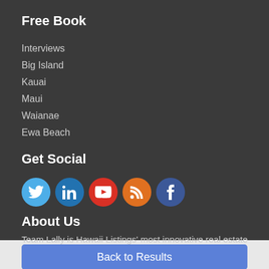Free Book
Interviews
Big Island
Kauai
Maui
Waianae
Ewa Beach
Get Social
[Figure (infographic): Social media icons: Twitter (blue), LinkedIn (dark blue), YouTube (red), RSS (orange), Facebook (dark blue)]
About Us
Team Lally is Hawaii Listings' most innovative real estate team.
Team Lally
Back to Results